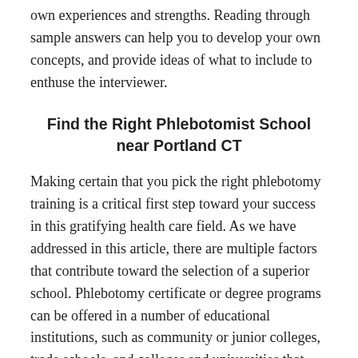own experiences and strengths. Reading through sample answers can help you to develop your own concepts, and provide ideas of what to include to enthuse the interviewer.
Find the Right Phlebotomist School near Portland CT
Making certain that you pick the right phlebotomy training is a critical first step toward your success in this gratifying health care field. As we have addressed in this article, there are multiple factors that contribute toward the selection of a superior school. Phlebotomy certificate or degree programs can be offered in a number of educational institutions, such as community or junior colleges, trade schools, and colleges and universities that provide an extensive assortment of programs in healthcare and medical sciences. Program offerings can differ slightly from state to state as every state has its own mandates when it concerns phlebotomist